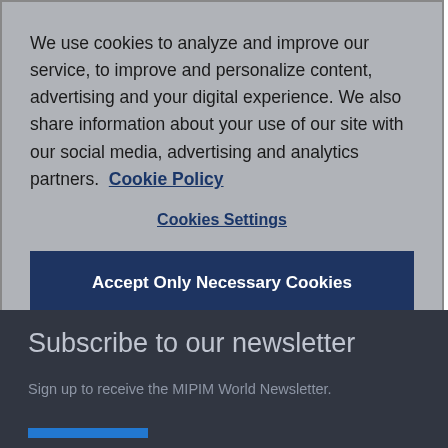We use cookies to analyze and improve our service, to improve and personalize content, advertising and your digital experience. We also share information about your use of our site with our social media, advertising and analytics partners.  Cookie Policy
Cookies Settings
Accept Only Necessary Cookies
Accept All Cookies
Subscribe to our newsletter
Sign up to receive the MIPIM World Newsletter.